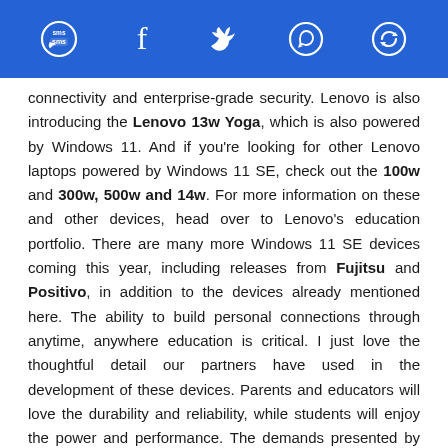Social sharing icons: SMS, Facebook, Twitter, WhatsApp, Refresh/Share
connectivity and enterprise-grade security. Lenovo is also introducing the Lenovo 13w Yoga, which is also powered by Windows 11. And if you're looking for other Lenovo laptops powered by Windows 11 SE, check out the 100w and 300w, 500w and 14w. For more information on these and other devices, head over to Lenovo's education portfolio. There are many more Windows 11 SE devices coming this year, including releases from Fujitsu and Positivo, in addition to the devices already mentioned here. The ability to build personal connections through anytime, anywhere education is critical. I just love the thoughtful detail our partners have used in the development of these devices. Parents and educators will love the durability and reliability, while students will enjoy the power and performance. The demands presented by hybrid and remote learning have fostered incredible innovation, and it is